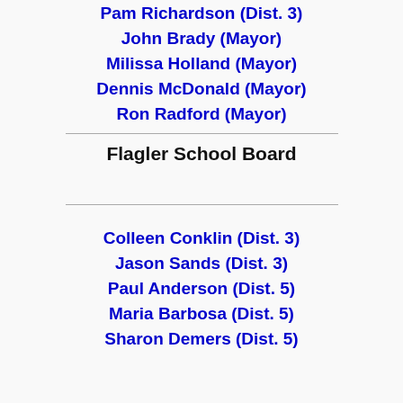Pam Richardson (Dist. 3)
John Brady (Mayor)
Milissa Holland (Mayor)
Dennis McDonald (Mayor)
Ron Radford (Mayor)
Flagler School Board
Colleen Conklin (Dist. 3)
Jason Sands (Dist. 3)
Paul Anderson (Dist. 5)
Maria Barbosa (Dist. 5)
Sharon Demers (Dist. 5)